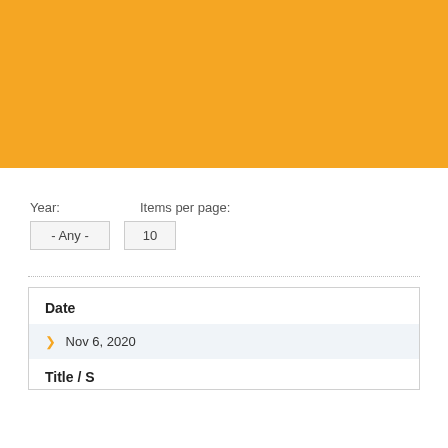[Figure (other): Orange/amber colored banner filling the top portion of the page]
Year:
Items per page:
- Any -
10
| Date |  |
| --- | --- |
| Nov 6, 2020 |  |
| Title / S... |  |